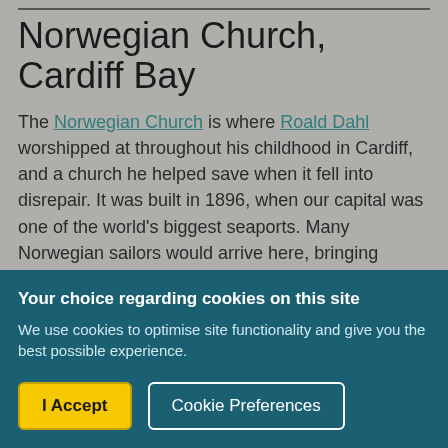Norwegian Church, Cardiff Bay
The Norwegian Church is where Roald Dahl worshipped at throughout his childhood in Cardiff, and a church he helped save when it fell into disrepair. It was built in 1896, when our capital was one of the world's biggest seaports. Many Norwegian sailors would arrive here, bringing timber for pit props into South Wales. Dahl's father Harald came
Your choice regarding cookies on this site
We use cookies to optimise site functionality and give you the best possible experience.
I Accept
Cookie Preferences